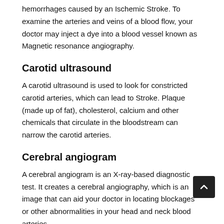hemorrhages caused by an Ischemic Stroke. To examine the arteries and veins of a blood flow, your doctor may inject a dye into a blood vessel known as Magnetic resonance angiography.
Carotid ultrasound
A carotid ultrasound is used to look for constricted carotid arteries, which can lead to Stroke. Plaque (made up of fat), cholesterol, calcium and other chemicals that circulate in the bloodstream can narrow the carotid arteries.
Cerebral angiogram
A cerebral angiogram is an X-ray-based diagnostic test. It creates a cerebral angiography, which is an image that can aid your doctor in locating blockages or other abnormalities in your head and neck blood arteries.